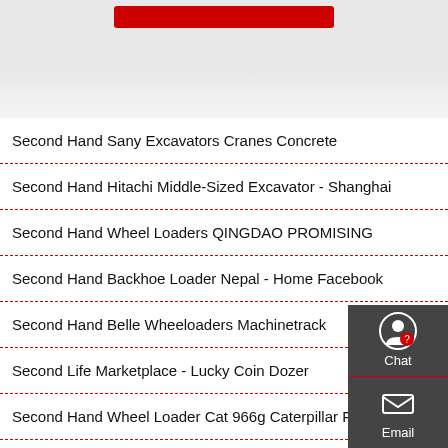Second Hand Sany Excavators Cranes Concrete
Second Hand Hitachi Middle-Sized Excavator - Shanghai
Second Hand Wheel Loaders QINGDAO PROMISING
Second Hand Backhoe Loader Nepal - Home Facebook
Second Hand Belle Wheeloaders Machinetrack
Second Life Marketplace - Lucky Coin Dozer
Second Hand Wheel Loader Cat 966g Caterpillar Front
Second Hand Excavator Hitachi Second Hand Excavator
Second Hand Volvo Excavator In Ireland View 62